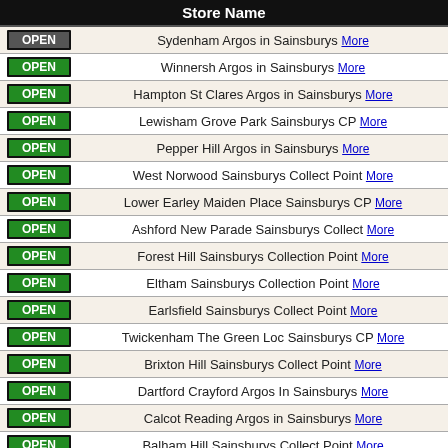|  | Store Name |
| --- | --- |
| OPEN | Sydenham Argos in Sainsburys More |
| OPEN | Winnersh Argos in Sainsburys More |
| OPEN | Hampton St Clares Argos in Sainsburys More |
| OPEN | Lewisham Grove Park Sainsburys CP More |
| OPEN | Pepper Hill Argos in Sainsburys More |
| OPEN | West Norwood Sainsburys Collect Point More |
| OPEN | Lower Earley Maiden Place Sainsburys CP More |
| OPEN | Ashford New Parade Sainsburys Collect More |
| OPEN | Forest Hill Sainsburys Collection Point More |
| OPEN | Eltham Sainsburys Collection Point More |
| OPEN | Earlsfield Sainsburys Collect Point More |
| OPEN | Twickenham The Green Loc Sainsburys CP More |
| OPEN | Brixton Hill Sainsburys Collect Point More |
| OPEN | Dartford Crayford Argos In Sainsburys More |
| OPEN | Calcot Reading Argos in Sainsburys More |
| OPEN | Balham Hill Sainsburys Collect Point More |
| OPEN | Wandsworth Argos in Sainsburys More |
| OPEN | Brixton Lambert Rd Sainsburys Collect Pt More |
| OPEN | Lee Green in Sainsburys More |
| OPEN | Clapham Common Argos in Sainsburys More |
| OPEN | Bexleyheath in Sainsburys More |
| OPEN | Keynsham Market Place Sainsburys Collect More |